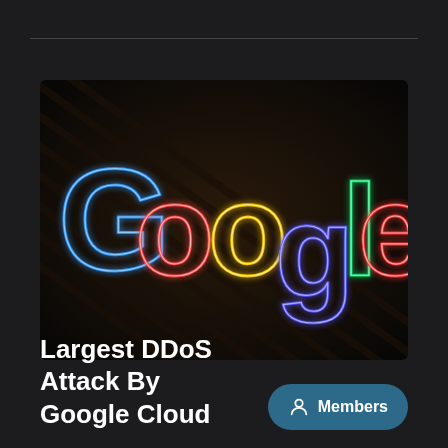[Figure (illustration): Neon Google logo sign on dark background with diagonal shadow lines. Letters in neon colors: G (blue), o (red), o (yellow), g (blue/purple), l (green), e (red).]
Largest DDoS Attack By Google Cloud
Members